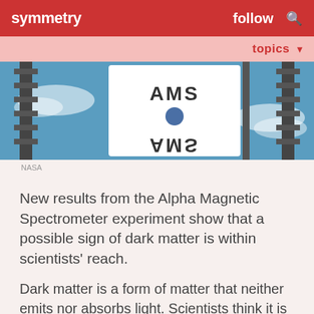symmetry   follow   🔍
topics ▼
[Figure (photo): Photo of the Alpha Magnetic Spectrometer (AMS) experiment mounted on the International Space Station, showing equipment with 'AMS' text visible, taken from space with Earth visible in the background.]
NASA
New results from the Alpha Magnetic Spectrometer experiment show that a possible sign of dark matter is within scientists' reach.
Dark matter is a form of matter that neither emits nor absorbs light. Scientists think it is about five times as prevalent as regular matter,